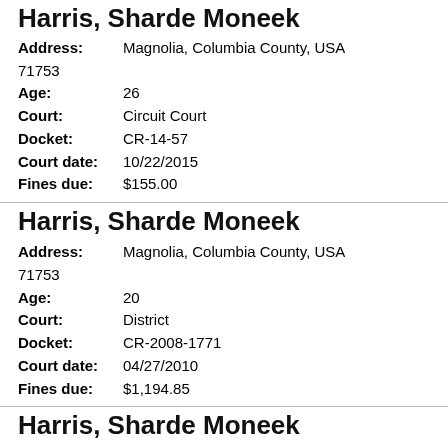Harris, Sharde Moneek
Address: Magnolia, Columbia County, USA 71753
Age: 26
Court: Circuit Court
Docket: CR-14-57
Court date: 10/22/2015
Fines due: $155.00
Harris, Sharde Moneek
Address: Magnolia, Columbia County, USA 71753
Age: 20
Court: District
Docket: CR-2008-1771
Court date: 04/27/2010
Fines due: $1,194.85
Harris, Sharde Moneek
Address: Magnolia, Columbia County, USA 71753
Age: 23
Court: Circuit Court